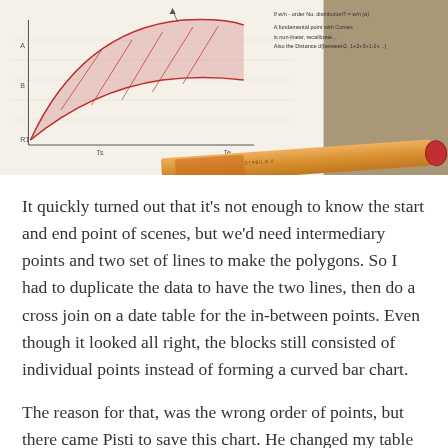[Figure (photo): A photo of handwritten notes on paper with sketched curved polygon/bar chart diagram in red pencil, alongside a red-tipped orange pen/marker resting on a wooden surface.]
It quickly turned out that it's not enough to know the start and end point of scenes, but we'd need intermediary points and two set of lines to make the polygons. So I had to duplicate the data to have the two lines, then do a cross join on a date table for the in-between points. Even though it looked all right, the blocks still consisted of individual points instead of forming a curved bar chart.
The reason for that, was the wrong order of points, but there came Pisti to save this chart. He changed my table calculations to LoDs and wrote a monster calculation for the point order. The workbook is downloadable to see for